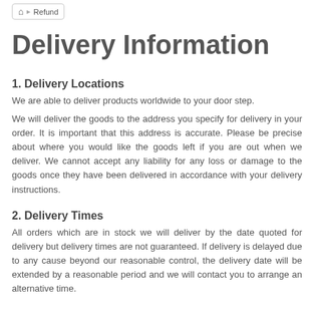🏠 Refund
Delivery Information
1. Delivery Locations
We are able to deliver products worldwide to your door step.
We will deliver the goods to the address you specify for delivery in your order. It is important that this address is accurate. Please be precise about where you would like the goods left if you are out when we deliver. We cannot accept any liability for any loss or damage to the goods once they have been delivered in accordance with your delivery instructions.
2. Delivery Times
All orders which are in stock we will deliver by the date quoted for delivery but delivery times are not guaranteed. If delivery is delayed due to any cause beyond our reasonable control, the delivery date will be extended by a reasonable period and we will contact you to arrange an alternative time.